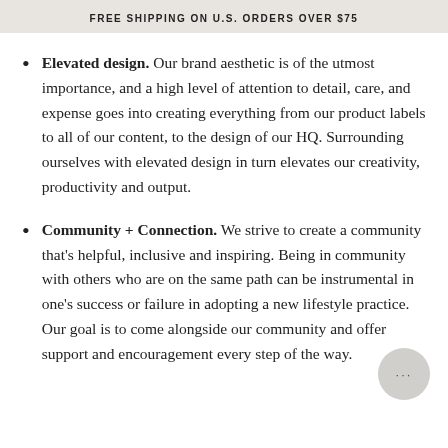FREE SHIPPING ON U.S. ORDERS OVER $75
Elevated design. Our brand aesthetic is of the utmost importance, and a high level of attention to detail, care, and expense goes into creating everything from our product labels to all of our content, to the design of our HQ. Surrounding ourselves with elevated design in turn elevates our creativity, productivity and output.
Community + Connection. We strive to create a community that's helpful, inclusive and inspiring. Being in community with others who are on the same path can be instrumental in one's success or failure in adopting a new lifestyle practice. Our goal is to come alongside our community and offer support and encouragement every step of the way.